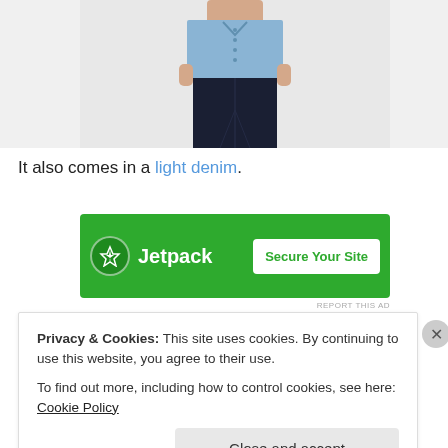[Figure (photo): Product photo of a person wearing a light denim shirt and dark navy trousers, cropped at torso.]
It also comes in a light denim.
[Figure (infographic): Jetpack advertisement banner: green background with Jetpack logo and 'Secure Your Site' button.]
Privacy & Cookies: This site uses cookies. By continuing to use this website, you agree to their use.
To find out more, including how to control cookies, see here: Cookie Policy
Close and accept